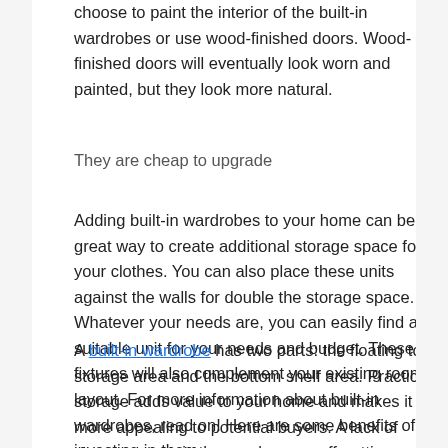choose to paint the interior of the built-in wardrobes or use wood-finished doors. Wood-finished doors will eventually look worn and painted, but they look more natural.
They are cheap to upgrade
Adding built-in wardrobes to your home can be a great way to create additional storage space for your clothes. You can also place these units against the walls for double the storage space. Whatever your needs are, you can easily find a suitable unit for your needs and budget. These fixtures will also complement your existing room layout. For more information about built-in wardrobes, read on! Here are some benefits of investing in them.
A built-in wardrobe has two parts: the floating top storage area and the bottom shelf area. Practical storage adds value to your home and makes it more appealing to potential buyers. A lack of storage space is the number one off-putting feature for a home when selling. Adding built-in cupboards is a great way to increase the value of your home. They are also cheap to upgrade and look great when finished.